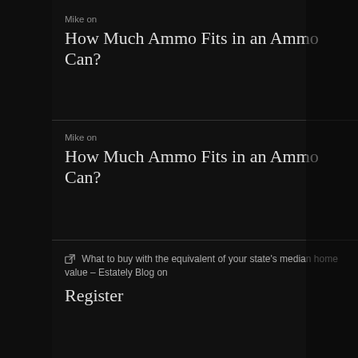Mike on
How Much Ammo Fits in an Ammo Can?
Mike on
How Much Ammo Fits in an Ammo Can?
What to buy with the equivalent of your state's median home value – Estately Blog on
Register
ARCHIVES
March 2020
July 2017
June 2017